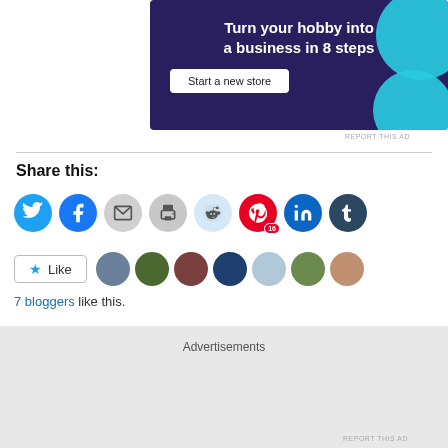[Figure (other): Advertisement banner: 'Turn your hobby into a business in 8 steps' with 'Start a new store' button on dark purple background with teal circles]
REPORT THIS AD
Share this:
[Figure (other): Row of social sharing icon buttons: Twitter, Facebook, Email, Print, Reddit, Pinterest (16), LinkedIn, Tumblr]
[Figure (other): Like button and 7 blogger avatars]
7 bloggers like this.
Advertisements
REPORT THIS AD